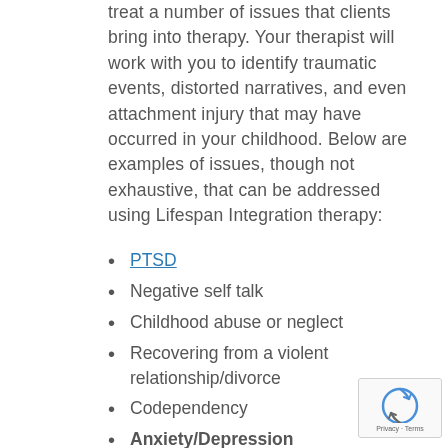treat a number of issues that clients bring into therapy. Your therapist will work with you to identify traumatic events, distorted narratives, and even attachment injury that may have occurred in your childhood. Below are examples of issues, though not exhaustive, that can be addressed using Lifespan Integration therapy:
PTSD
Negative self talk
Childhood abuse or neglect
Recovering from a violent relationship/divorce
Codependency
Anxiety/Depression